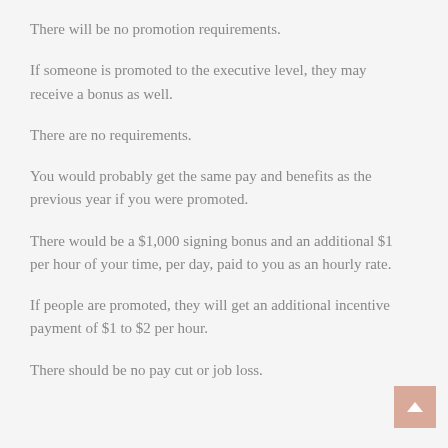There will be no promotion requirements.
If someone is promoted to the executive level, they may receive a bonus as well.
There are no requirements.
You would probably get the same pay and benefits as the previous year if you were promoted.
There would be a $1,000 signing bonus and an additional $1 per hour of your time, per day, paid to you as an hourly rate.
If people are promoted, they will get an additional incentive payment of $1 to $2 per hour.
There should be no pay cut or job loss.